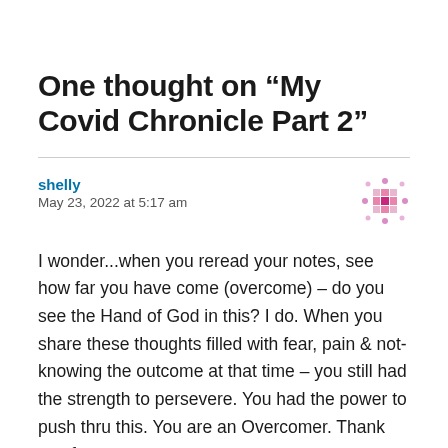One thought on “My Covid Chronicle Part 2”
shelly
May 23, 2022 at 5:17 am
I wonder...when you reread your notes, see how far you have come (overcome) – do you see the Hand of God in this? I do. When you share these thoughts filled with fear, pain & not-knowing the outcome at that time – you still had the strength to persevere. You had the power to push thru this. You are an Overcomer. Thank you for...